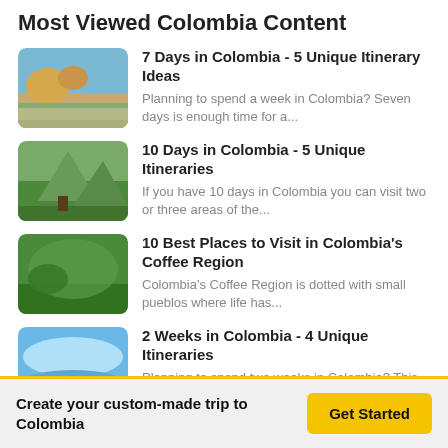Most Viewed Colombia Content
7 Days in Colombia - 5 Unique Itinerary Ideas
Planning to spend a week in Colombia? Seven days is enough time for a...
10 Days in Colombia - 5 Unique Itineraries
If you have 10 days in Colombia you can visit two or three areas of the...
10 Best Places to Visit in Colombia's Coffee Region
Colombia's Coffee Region is dotted with small pueblos where life has...
2 Weeks in Colombia - 4 Unique Itineraries
Planning to spend two weeks in Colombia? This amount of time opens up a...
How Many Days Should You Spend in Colombia?
Create your custom-made trip to Colombia
Get Started